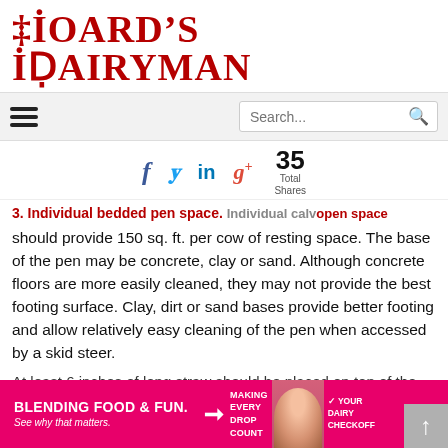[Figure (logo): Hoard's Dairyman magazine logo in red serif/decorative font]
[Figure (screenshot): Navigation bar with hamburger menu icon and search box]
[Figure (infographic): Social sharing icons: Facebook (f), Twitter (bird), LinkedIn (in), Google+ (g+), and share count 35 Total Shares]
3. Individual bedded pen space. Individual calves open pen space
should provide 150 sq. ft. per cow of resting space. The base of the pen may be concrete, clay or sand. Although concrete floors are more easily cleaned, they may not provide the best footing surface. Clay, dirt or sand bases provide better footing and allow relatively easy cleaning of the pen when accessed by a skid steer.
At least 6 inches of long straw should be placed on top of the
[Figure (infographic): Pink advertisement banner: BLENDING FOOD & FUN. See why that matters. MAKING EVERY DROP COUNT. YOUR DAIRY CHECKOFF.]